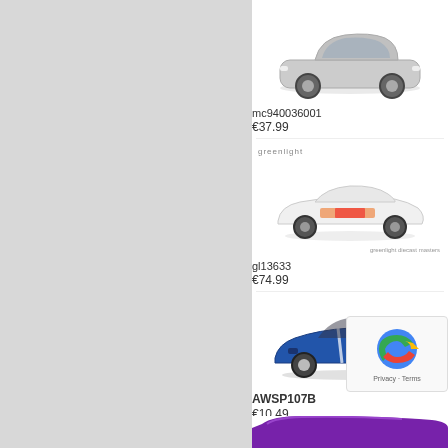[Figure (photo): Left panel - gray background, empty]
[Figure (photo): Silver sedan toy car model - mc940036001]
mc940036001
€37.99
greenlight (brand logo, small)
[Figure (photo): White racing car toy model with red graphics - gl13633]
gl13633
€74.99
[Figure (photo): Blue sports car (Ford GT) toy model - AWSP107B]
AWSP107B
€10.49
[Figure (other): reCAPTCHA widget overlay]
[Figure (photo): Partial view of purple/violet car at bottom]